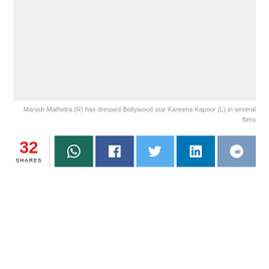[Figure (photo): Grey placeholder image area representing a photo of Manish Malhotra and Kareena Kapoor]
Manish Malhotra (R) has dressed Bollywood star Kareena Kapoor (L) in several films
32 SHARES — social share bar with WhatsApp, Facebook, Twitter, LinkedIn, Reddit buttons